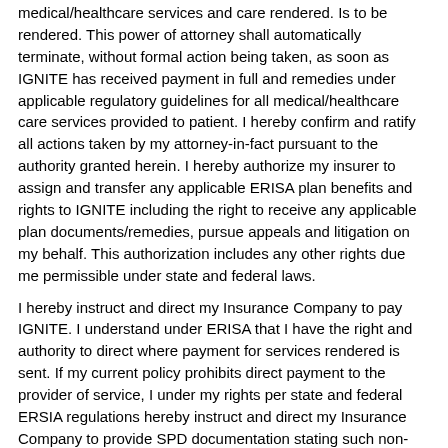medical/healthcare services and care rendered. Is to be rendered. This power of attorney shall automatically terminate, without formal action being taken, as soon as IGNITE has received payment in full and remedies under applicable regulatory guidelines for all medical/healthcare care services provided to patient. I hereby confirm and ratify all actions taken by my attorney-in-fact pursuant to the authority granted herein. I hereby authorize my insurer to assign and transfer any applicable ERISA plan benefits and rights to IGNITE including the right to receive any applicable plan documents/remedies, pursue appeals and litigation on my behalf. This authorization includes any other rights due me permissible under state and federal laws.
I hereby instruct and direct my Insurance Company to pay IGNITE. I understand under ERISA that I have the right and authority to direct where payment for services rendered is sent. If my current policy prohibits direct payment to the provider of service, I under my rights per state and federal ERSIA regulations hereby instruct and direct my Insurance Company to provide SPD documentation stating such non-assign ability clause to myself and IGNITE. Upon proof of non-assign ability documentation, I hereby instruct that the insurer make out the check to me and mail it directly to:
1976 S. La Cienega Blvd #668